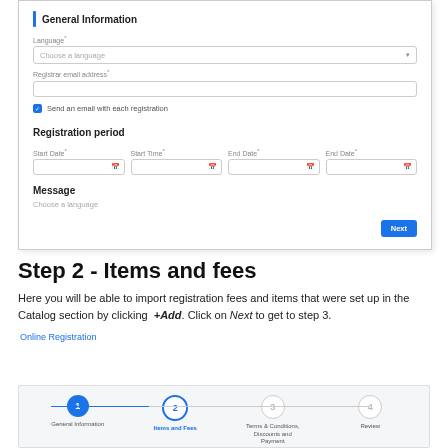[Figure (screenshot): Screenshot of a web form showing General Information section with language dropdown, registrar email field, send email checkbox, Registration period section with Start Date, Start Time, End Date, End Date fields, Message section with language chooser, and a Next button.]
Step 2 - Items and fees
Here you will be able to import registration fees and items that were set up in the Catalog section by clicking +Add. Click on Next to get to step 3.
Online Registration
[Figure (infographic): Step progress indicator showing 4 steps: 1 General Information (completed/blue filled), 2 Items and Fees (active/blue outline), 3 Terms & Conditions, Discounts and Payment (inactive/grey), 4 Review (inactive/grey). Connected by a line that is blue between steps 1-2 and grey between steps 2-3 and 3-4.]